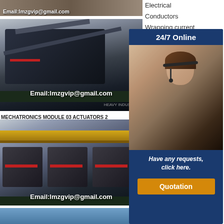[Figure (photo): Top strip of a sandy/gravel surface with email overlay text 'Email:lmzgvip@gmail.com']
[Figure (photo): Industrial mobile crushing plant in a factory warehouse with email overlay 'Email:lmzgvip@gmail.com']
MECHATRONICS MODULE 03 ACTUATORS 2
[Figure (photo): Industrial mobile crushing equipment inside a large warehouse with yellow overhead beam and email overlay 'Email:lmzgvip@gmail.com']
[Figure (photo): Partial blue sky/outdoor scene at bottom]
Electrical
Conductors
Wrapping current
Dc motors
Sl...
20...
m...
M...
[Figure (infographic): 24/7 Online chat support panel with customer service representative photo, text 'Have any requests, click here.' and Quotation button]